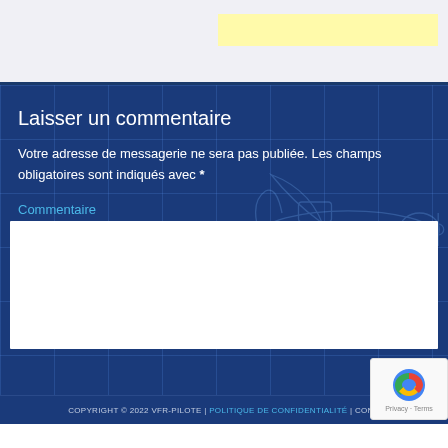[Figure (screenshot): Top portion of a web form with a yellow input field on a light gray background]
Laisser un commentaire
Votre adresse de messagerie ne sera pas publiée. Les champs obligatoires sont indiqués avec *
Commentaire
[Figure (screenshot): White comment textarea input box]
[Figure (other): reCAPTCHA badge with Privacy - Terms]
COPYRIGHT © 2022 VFR-PILOTE | POLITIQUE DE CONFIDENTIALITÉ | CONN...